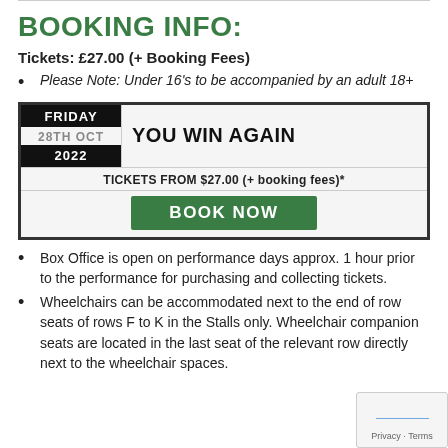BOOKING INFO:
Tickets: £27.00 (+ Booking Fees)
Please Note: Under 16's to be accompanied by an adult 18+
[Figure (infographic): Event booking widget showing FRIDAY 28TH OCT 2022, YOU WIN AGAIN, TICKETS FROM $27.00 (+ booking fees)*, BOOK NOW button in green]
Box Office is open on performance days approx. 1 hour prior to the performance for purchasing and collecting tickets.
Wheelchairs can be accommodated next to the end of row seats of rows F to K in the Stalls only. Wheelchair companion seats are located in the last seat of the relevant row directly next to the wheelchair spaces.